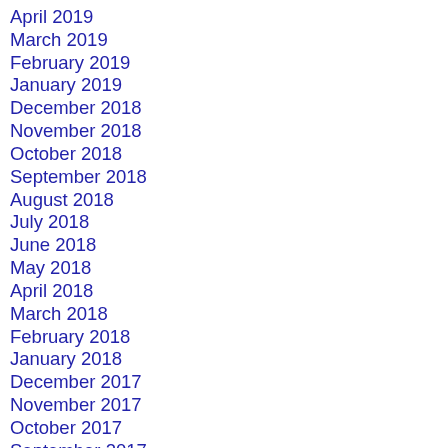April 2019
March 2019
February 2019
January 2019
December 2018
November 2018
October 2018
September 2018
August 2018
July 2018
June 2018
May 2018
April 2018
March 2018
February 2018
January 2018
December 2017
November 2017
October 2017
September 2017